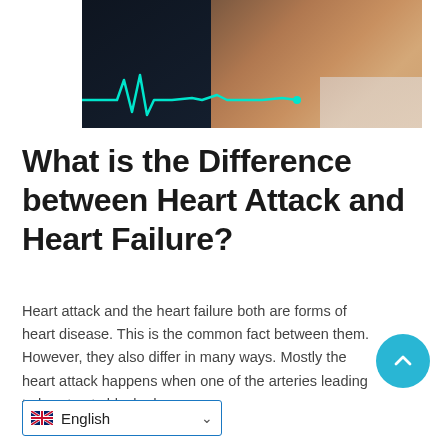[Figure (photo): A person clutching their chest with both hands over a white shirt, with a bright teal/cyan ECG heartbeat line overlaid on a dark background on the left side of the image.]
What is the Difference between Heart Attack and Heart Failure?
Heart attack and the heart failure both are forms of heart disease. This is the common fact between them. However, they also differ in many ways. Mostly the heart attack happens when one of the arteries leading to heart gets blocked …